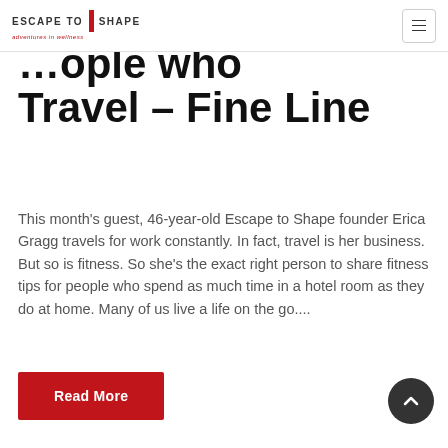ESCAPE to SHAPE adventures in wellness
People Who Travel – Fine Line
This month's guest, 46-year-old Escape to Shape founder Erica Gragg travels for work constantly. In fact, travel is her business. But so is fitness. So she's the exact right person to share fitness tips for people who spend as much time in a hotel room as they do at home. Many of us live a life on the go....
Read More